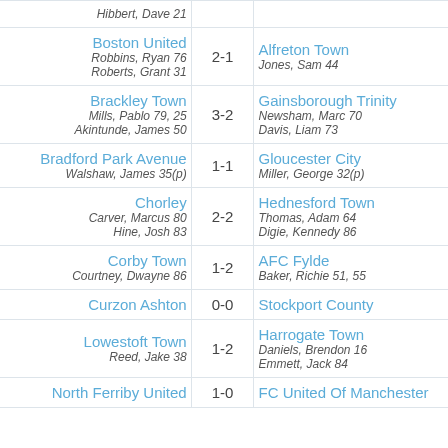| Home | Score | Away |
| --- | --- | --- |
| [Hibbert, Dave 21] |  |  |
| Boston United / Robbins, Ryan 76 / Roberts, Grant 31 | 2-1 | Alfreton Town / Jones, Sam 44 |
| Brackley Town / Mills, Pablo 79, 25 / Akintunde, James 50 | 3-2 | Gainsborough Trinity / Newsham, Marc 70 / Davis, Liam 73 |
| Bradford Park Avenue / Walshaw, James 35(p) | 1-1 | Gloucester City / Miller, George 32(p) |
| Chorley / Carver, Marcus 80 / Hine, Josh 83 | 2-2 | Hednesford Town / Thomas, Adam 64 / Digie, Kennedy 86 |
| Corby Town / Courtney, Dwayne 86 | 1-2 | AFC Fylde / Baker, Richie 51, 55 |
| Curzon Ashton | 0-0 | Stockport County |
| Lowestoft Town / Reed, Jake 38 | 1-2 | Harrogate Town / Daniels, Brendon 16 / Emmett, Jack 84 |
| North Ferriby United | 1-0 | FC United Of Manchester |